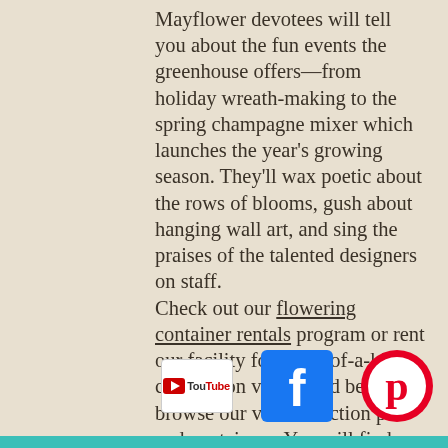Mayflower devotees will tell you about the fun events the greenhouse offers—from holiday wreath-making to the spring champagne mixer which launches the year's growing season. They'll wax poetic about the rows of blooms, gush about hanging wall art, and sing the praises of the talented designers on staff. Check out our flowering container rentals program or rent our facility for a one-of-a-kind celebration venue, and be sure to browse our vast collection pots and containers. You will find a garden's worth of inspiration. Visit us in person or shop our online store for everything wonderful.
[Figure (logo): YouTube logo icon]
[Figure (logo): Facebook logo icon (blue square with white f)]
[Figure (logo): Pinterest logo icon (white P on red circle)]